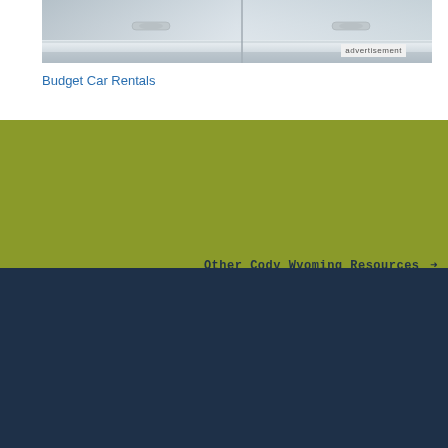[Figure (photo): Close-up photo of white car doors showing door handles]
advertisement
Budget Car Rentals
Other Cody Wyoming Resources →
Cody
See our travel website for Cody Wyoming - AllCody.com
ABOUT US
Since 1995, we've built travel guides that promote great outdoor destinations.
Read our story →